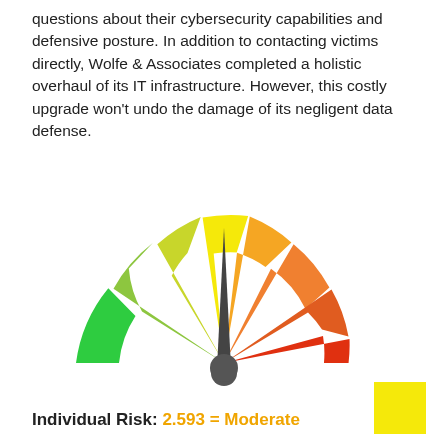questions about their cybersecurity capabilities and defensive posture. In addition to contacting victims directly, Wolfe & Associates completed a holistic overhaul of its IT infrastructure. However, this costly upgrade won't undo the damage of its negligent data defense.
[Figure (infographic): A semicircular gauge/speedometer showing risk level. Segments go from green (far left) through yellow-green, yellow, orange, dark orange, red-orange, to red (far right). A dark gray needle points straight down (center), indicating a moderate risk level. The gauge has 9 colored arc segments separated by white gaps.]
Individual Risk: 2.593 = Moderate
[Figure (other): A small yellow square color legend box in the bottom right corner.]